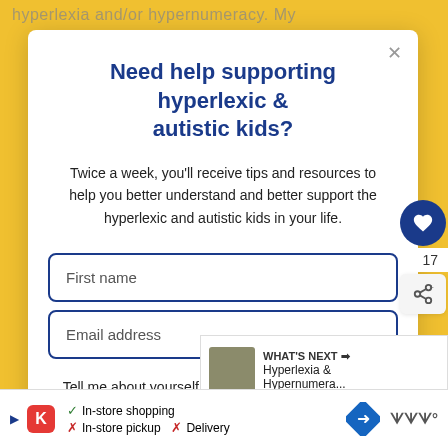hyperlexia and/or hypernumeracy. My
Need help supporting hyperlexic & autistic kids?
Twice a week, you'll receive tips and resources to help you better understand and better support the hyperlexic and autistic kids in your life.
First name
Email address
Tell me about yourself. Pick one that best describes why you're here.
I'm a parent or grandparent